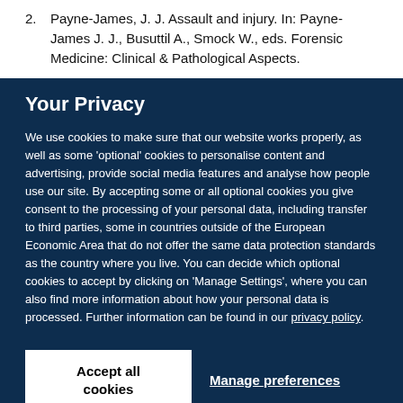2. Payne-James, J. J. Assault and injury. In: Payne-James J. J., Busuttil A., Smock W., eds. Forensic Medicine: Clinical & Pathological Aspects.
Your Privacy
We use cookies to make sure that our website works properly, as well as some 'optional' cookies to personalise content and advertising, provide social media features and analyse how people use our site. By accepting some or all optional cookies you give consent to the processing of your personal data, including transfer to third parties, some in countries outside of the European Economic Area that do not offer the same data protection standards as the country where you live. You can decide which optional cookies to accept by clicking on 'Manage Settings', where you can also find more information about how your personal data is processed. Further information can be found in our privacy policy.
Accept all cookies
Manage preferences